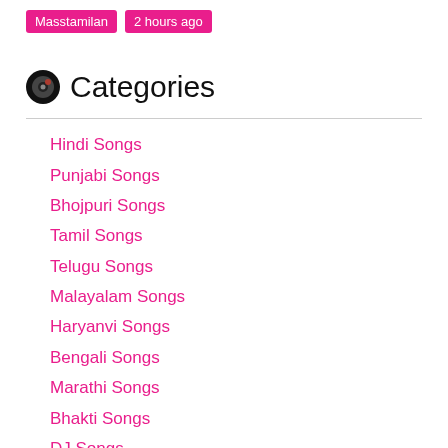Masstamilan   2 hours ago
🎵 Categories
Hindi Songs
Punjabi Songs
Bhojpuri Songs
Tamil Songs
Telugu Songs
Malayalam Songs
Haryanvi Songs
Bengali Songs
Marathi Songs
Bhakti Songs
DJ Songs